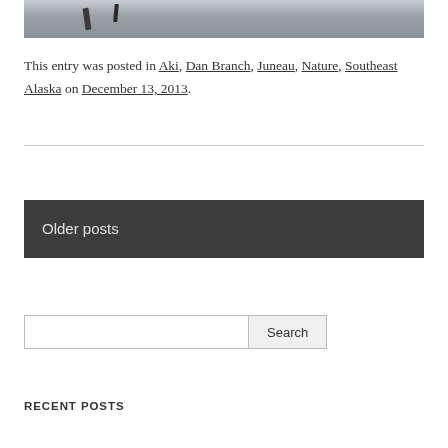[Figure (photo): Partial view of a snowy winter scene photo, cropped at top of page]
This entry was posted in Aki, Dan Branch, Juneau, Nature, Southeast Alaska on December 13, 2013.
Older posts
Search
RECENT POSTS